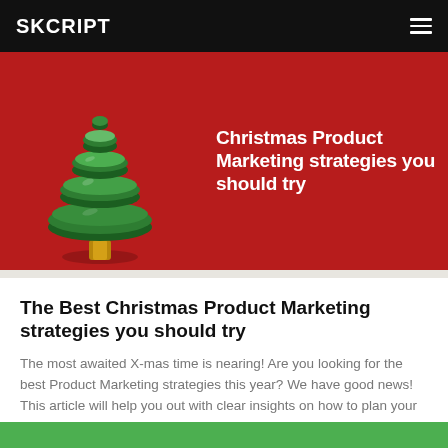SKCRIPT
[Figure (illustration): Red banner with a 3D green Christmas tree figurine on the left and white bold text 'Christmas Product Marketing strategies you should try' on the right]
The Best Christmas Product Marketing strategies you should try
The most awaited X-mas time is nearing! Are you looking for the best Product Marketing strategies this year? We have good news! This article will help you out with clear insights on how to plan your … →